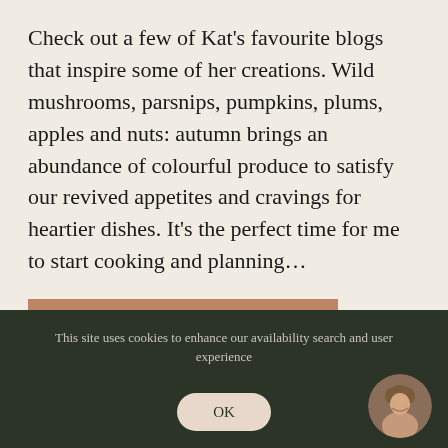Check out a few of Kat's favourite blogs that inspire some of her creations. Wild mushrooms, parsnips, pumpkins, plums, apples and nuts: autumn brings an abundance of colourful produce to satisfy our revived appetites and cravings for heartier dishes. It's the perfect time for me to start cooking and planning…
CONTINUE READING...
This site uses cookies to enhance our availability search and user experience
OK